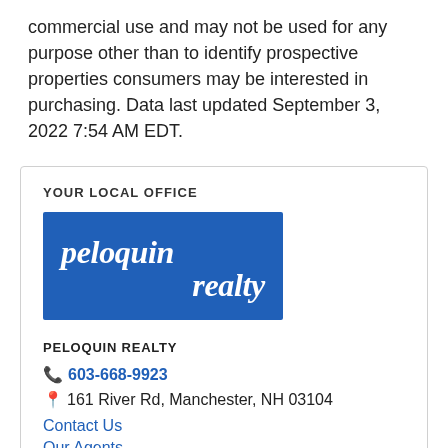commercial use and may not be used for any purpose other than to identify prospective properties consumers may be interested in purchasing. Data last updated September 3, 2022 7:54 AM EDT.
YOUR LOCAL OFFICE
[Figure (logo): Peloquin Realty logo — blue rectangle with white italic text reading 'peloquin realty']
Peloquin Realty
603-668-9923
161 River Rd, Manchester, NH 03104
Contact Us
Our Agents